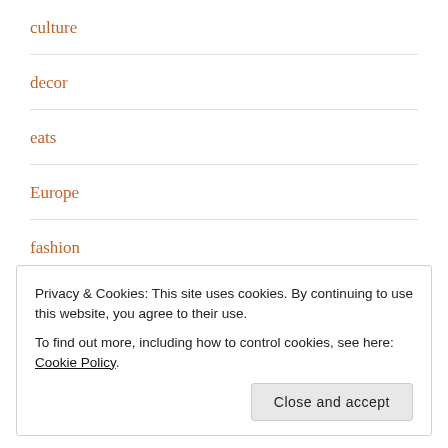culture
decor
eats
Europe
fashion
Food
foodie
Privacy & Cookies: This site uses cookies. By continuing to use this website, you agree to their use.
To find out more, including how to control cookies, see here: Cookie Policy
Close and accept